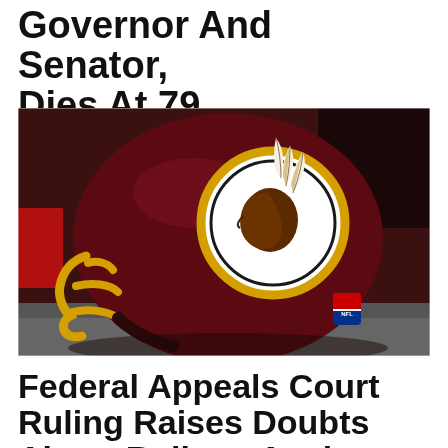Governor And Senator, Dies At 79
DOUG MATACONIS · TUESDAY, JUNE 14, 2016 · 1 COMMENT
[Figure (photo): Washington Redskins NFL football helmet with the team logo showing a Native American profile with feathers, dark maroon helmet with gold facemask and gold/white circular logo, placed on a red and gray surface]
Federal Appeals Court Ruling Raises Doubts About Rulings Against